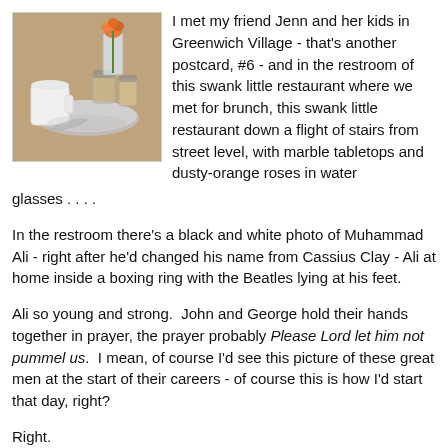[Figure (photo): Photo of a restaurant table with a white ceramic mug, silver tray, small jars, and a dusty-orange rose in a water glass, on a marble tabletop.]
I met my friend Jenn and her kids in Greenwich Village - that's another postcard, #6 - and in the restroom of this swank little restaurant where we met for brunch, this swank little restaurant down a flight of stairs from street level, with marble tabletops and dusty-orange roses in water glasses . . . .
In the restroom there's a black and white photo of Muhammad Ali - right after he'd changed his name from Cassius Clay - Ali at home inside a boxing ring with the Beatles lying at his feet.
Ali so young and strong.  John and George hold their hands together in prayer, the prayer probably Please Lord let him not pummel us.  I mean, of course I'd see this picture of these great men at the start of their careers - of course this is how I'd start that day, right?
Right.